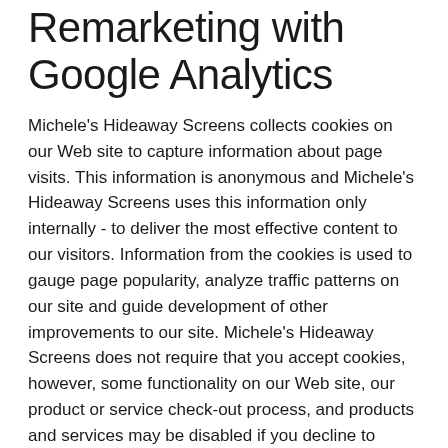Remarketing with Google Analytics
Michele's Hideaway Screens collects cookies on our Web site to capture information about page visits. This information is anonymous and Michele's Hideaway Screens uses this information only internally - to deliver the most effective content to our visitors. Information from the cookies is used to gauge page popularity, analyze traffic patterns on our site and guide development of other improvements to our site. Michele's Hideaway Screens does not require that you accept cookies, however, some functionality on our Web site, our product or service check-out process, and products and services may be disabled if you decline to accept cookies. You can set your browser to notify you when you receive a cookie, giving you the chance to decide whether or not to